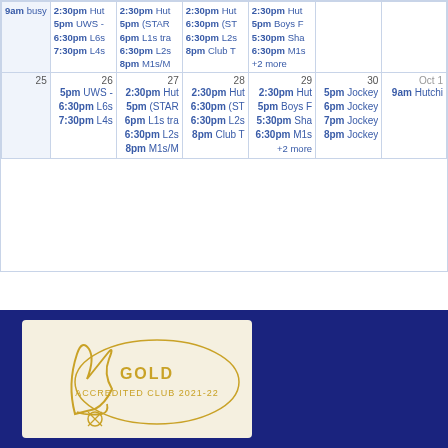| (blank) | Mon | Tue | Wed | Thu | Fri | Sat |
| --- | --- | --- | --- | --- | --- | --- |
|  | 2:30pm Hut
5pm UWS -
6:30pm L6s
7:30pm L4s | 2:30pm Hut
5pm (STAR
6pm L1s tra
6:30pm L2s
8pm M1s/M | 2:30pm Hut
6:30pm (ST
6:30pm L2s
8pm Club T | 2:30pm Hut
5pm Boys F
5:30pm Sha
6:30pm M1s
+2 more |  |  |
| 25 | 26
5pm UWS -
6:30pm L6s
7:30pm L4s | 27
2:30pm Hut
5pm (STAR
6pm L1s tra
6:30pm L2s
8pm M1s/M | 28
2:30pm Hut
6:30pm (ST
6:30pm L2s
8pm Club T | 29
2:30pm Hut
5pm Boys F
5:30pm Sha
6:30pm M1s
+2 more | 30
5pm Jockey
6pm Jockey
7pm Jockey
8pm Jockey | Oct 1
9am Hutchi |
Events shown in time zone: United Kingdom Time
[Figure (logo): Google Calendar button with blue plus icon and Google-colored text]